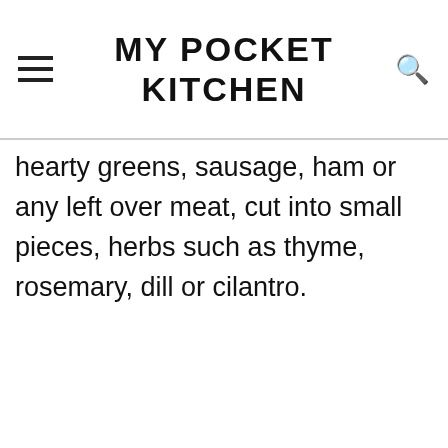MY POCKET KITCHEN
hearty greens, sausage, ham or any left over meat, cut into small pieces, herbs such as thyme, rosemary, dill or cilantro.
[Figure (screenshot): Partial view of webpage screenshot and advertisement banner with an X close button]
This website uses cookies to ensure you get the best experience on our website.
Learn more
Got it